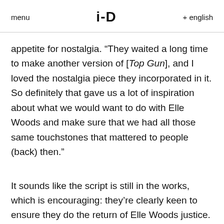menu  i-D  + english
appetite for nostalgia. “They waited a long time to make another version of [Top Gun], and I loved the nostalgia piece they incorporated in it. So definitely that gave us a lot of inspiration about what we would want to do with Elle Woods and make sure that we had all those same touchstones that mattered to people (back) then.”
It sounds like the script is still in the works, which is encouraging: they’re clearly keen to ensure they do the return of Elle Woods justice. "I feel like these characters are my friends, so I